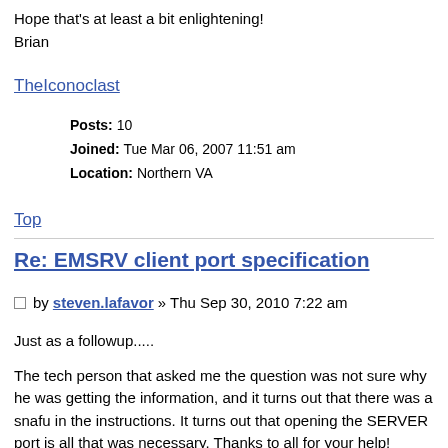Hope that's at least a bit enlightening!
Brian
TheIconoclast
Posts: 10
Joined: Tue Mar 06, 2007 11:51 am
Location: Northern VA
Top
Re: EMSRV client port specification
by steven.lafavor » Thu Sep 30, 2010 7:22 am
Just as a followup.....
The tech person that asked me the question was not sure why he was getting the information, and it turns out that there was a snafu in the instructions. It turns out that opening the SERVER port is all that was necessary. Thanks to all for your help!
*Steve*